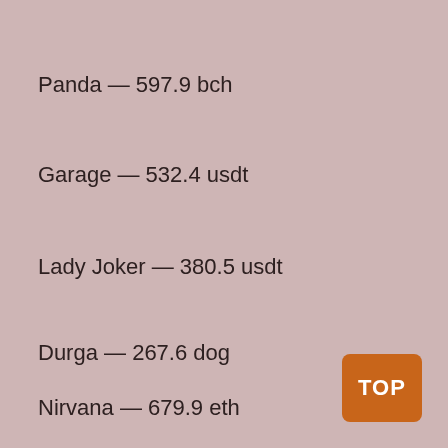Panda — 597.9 bch
Garage — 532.4 usdt
Lady Joker — 380.5 usdt
Durga — 267.6 dog
Nirvana — 679.9 eth